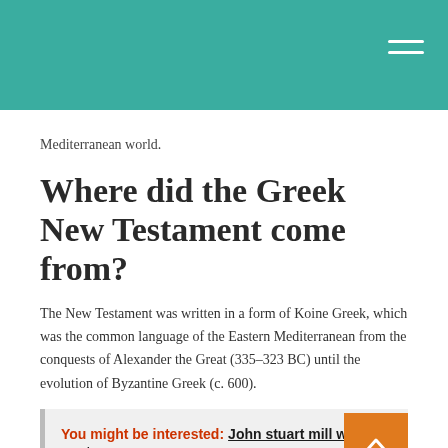Mediterranean world.
Where did the Greek New Testament come from?
The New Testament was written in a form of Koine Greek, which was the common language of the Eastern Mediterranean from the conquests of Alexander the Great (335–323 BC) until the evolution of Byzantine Greek (c. 600).
You might be interested:  John stuart mill what is poetry summary
Who translated the